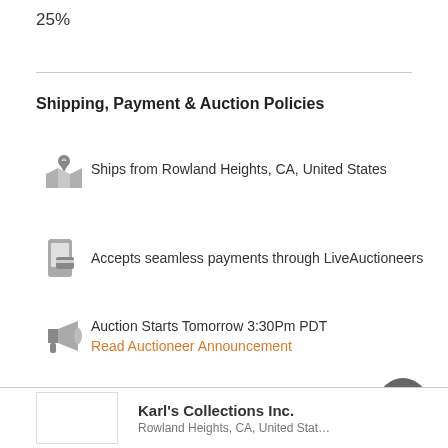25%
Shipping, Payment & Auction Policies
Ships from Rowland Heights, CA, United States
Accepts seamless payments through LiveAuctioneers
Auction Starts Tomorrow 3:30Pm PDT
Read Auctioneer Announcement
View Shipping, Payment & Auction Policies
Karl's Collections Inc.
Rowland Heights, CA, United States